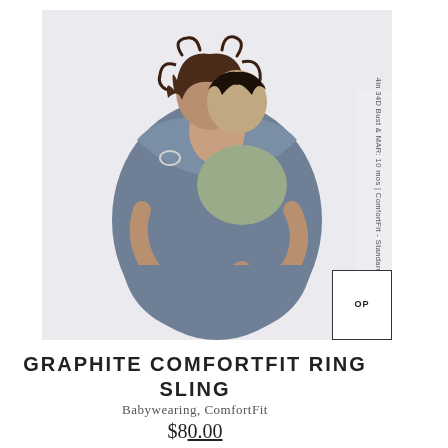[Figure (photo): A woman wearing a graphite blue ring sling carrier, holding a baby approximately 10 months old. The woman has curly brown hair and is wearing a grey-blue dress. The baby is nestled against her chest in the sling. Rotated text on the right side reads: 4in 34D Bust & MAR: 10 mos | ComfortFit - Standard]
GRAPHITE COMFORTFIT RING SLING
Babywearing, ComfortFit
$80.00